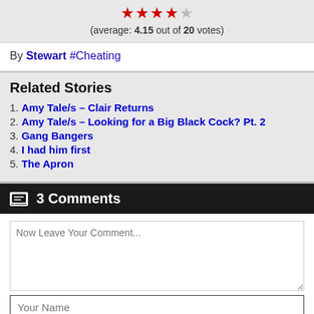(average: 4.15 out of 20 votes)
By Stewart #Cheating
Related Stories
1. Amy Tale/s – Clair Returns
2. Amy Tale/s – Looking for a Big Black Cock? Pt. 2
3. Gang Bangers
4. I had him first
5. The Apron
3 Comments
Now Leave Your Comment...
Your Name
Post Comment
Nick ID:174dr2b0cq • 8 months ago